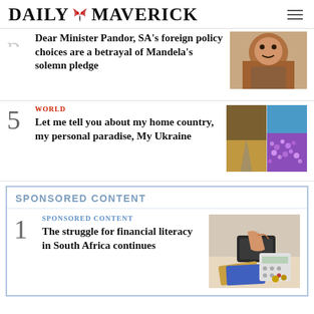DAILY MAVERICK
Dear Minister Pandor, SA's foreign policy choices are a betrayal of Mandela's solemn pledge
[Figure (photo): Close-up photo of Minister Pandor's face]
5 WORLD
Let me tell you about my home country, my personal paradise, My Ukraine
[Figure (photo): Two photos side by side: left shows a road through a landscape, right shows purple flowers/crocus field]
SPONSORED CONTENT
1 SPONSORED CONTENT
The struggle for financial literacy in South Africa continues
[Figure (photo): Photo of hands using a calculator with a wallet and credit cards on a desk]